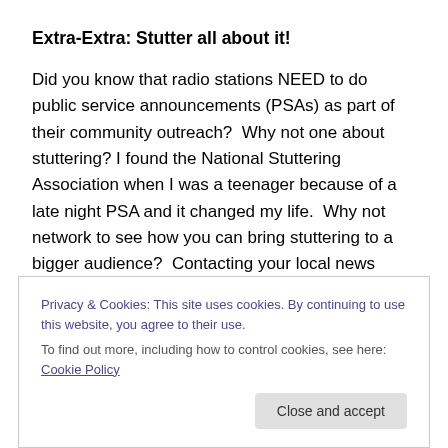Extra-Extra: Stutter all about it!
Did you know that radio stations NEED to do public service announcements (PSAs) as part of their community outreach?  Why not one about stuttering? I found the National Stuttering Association when I was a teenager because of a late night PSA and it changed my life.  Why not network to see how you can bring stuttering to a bigger audience?  Contacting your local news outlets is another great way to get the word out.  National Stuttering Awareness week is a great hook for a news outlet to
Privacy & Cookies: This site uses cookies. By continuing to use this website, you agree to their use.
To find out more, including how to control cookies, see here: Cookie Policy